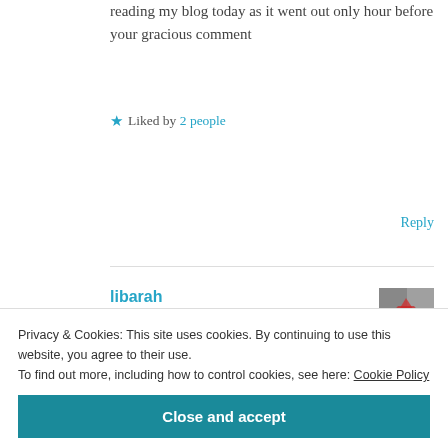reading my blog today as it went out only hour before your gracious comment
Liked by 2 people
Reply
libarah
December 2, 2018 at 7:01 pm
[Figure (photo): User avatar thumbnail showing a heart-themed image]
Thank you tooo 😍
Privacy & Cookies: This site uses cookies. By continuing to use this website, you agree to their use.
To find out more, including how to control cookies, see here: Cookie Policy
Close and accept